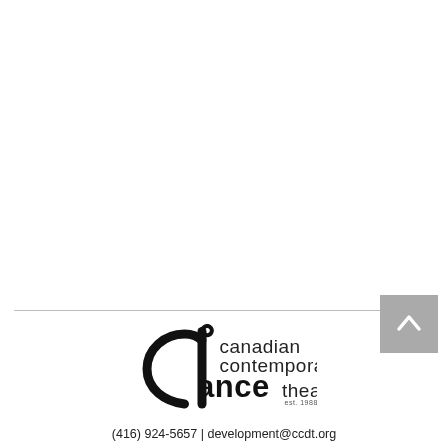[Figure (logo): Canadian Contemporary Dance Theatre logo with stylized 'd' figure and text]
(416) 924-5657 | development@ccdt.org
509 Parliament St, Toronto, ON M4X 1P3, Canada
Charitable Number: 119218816RR0001